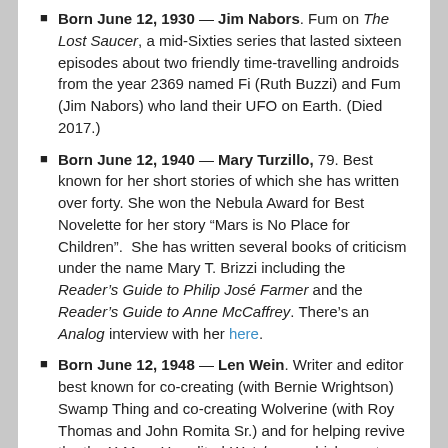Born June 12, 1930 — Jim Nabors. Fum on The Lost Saucer, a mid-Sixties series that lasted sixteen episodes about two friendly time-travelling androids from the year 2369 named Fi (Ruth Buzzi) and Fum (Jim Nabors) who land their UFO on Earth. (Died 2017.)
Born June 12, 1940 — Mary Turzillo, 79. Best known for her short stories of which she has written over forty. She won the Nebula Award for Best Novelette for her story "Mars is No Place for Children". She has written several books of criticism under the name Mary T. Brizzi including the Reader's Guide to Philip José Farmer and the Reader's Guide to Anne McCaffrey. There's an Analog interview with her here.
Born June 12, 1948 — Len Wein. Writer and editor best known for co-creating (with Bernie Wrightson) Swamp Thing and co-creating Wolverine (with Roy Thomas and John Romita Sr.) and for helping revive the the X-Men. He edited Watchmen which must have been interesting. He's a member of the Will